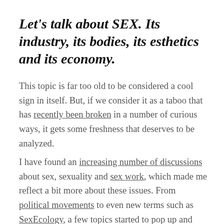Let's talk about SEX. Its industry, its bodies, its esthetics and its economy.
This topic is far too old to be considered a cool sign in itself. But, if we consider it as a taboo that has recently been broken in a number of curious ways, it gets some freshness that deserves to be analyzed.
I have found an increasing number of discussions about sex, sexuality and sex work, which made me reflect a bit more about these issues. From political movements to even new terms such as SexEcology, a few topics started to pop up and